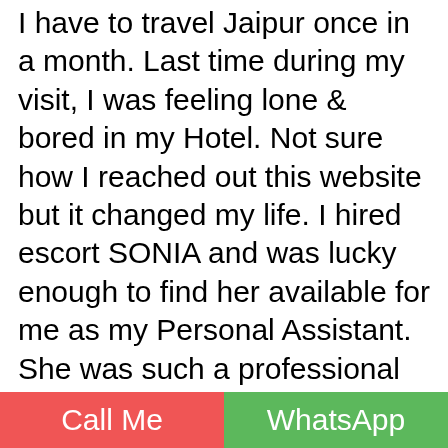I have to travel Jaipur once in a month. Last time during my visit, I was feeling lone & bored in my Hotel. Not sure how I reached out this website but it changed my life. I hired escort SONIA and was lucky enough to find her available for me as my Personal Assistant. She was such a professional in Cock Sucking. I never had such a Pleasure in my life. I hired for a short duration but ended up with a 4 hour session. She was an amazing Cock Sucker & loved to take my load in her mouth. She serve me 2 rounds of Blowjob & 1 session of a passionate sex. I realised the energy of a Horse in my body while having sex with her.
Call Me | WhatsApp